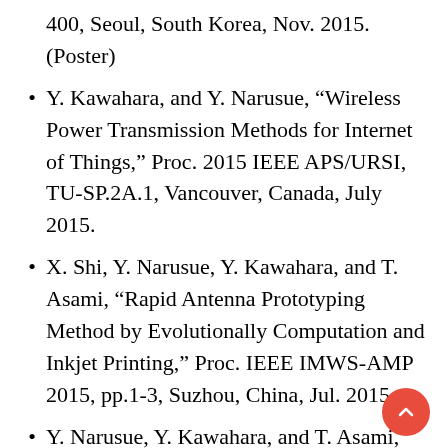400, Seoul, South Korea, Nov. 2015. (Poster)
Y. Kawahara, and Y. Narusue, “Wireless Power Transmission Methods for Internet of Things,” Proc. 2015 IEEE APS/URSI, TU-SP.2A.1, Vancouver, Canada, July 2015.
X. Shi, Y. Narusue, Y. Kawahara, and T. Asami, “Rapid Antenna Prototyping Method by Evolutionally Computation and Inkjet Printing,” Proc. IEEE IMWS-AMP 2015, pp.1-3, Suzhou, China, Jul. 2015.
Y. Narusue, Y. Kawahara, and T. Asami, “Maximum Efficiency Point Tracking by Input Control for a Wireless Power Transfer Sys... by Switching Voltage Regulator,” Proc...